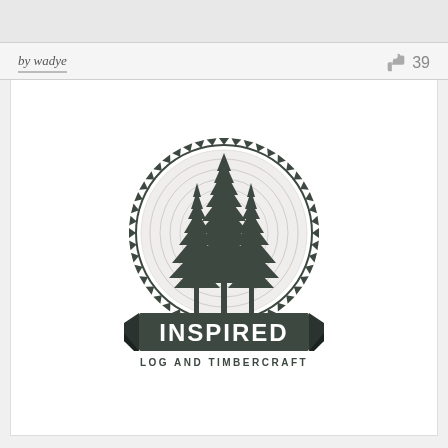[Figure (other): Gray top banner background strip]
by wadye
39
[Figure (logo): Inspired Log and Timbercraft circular logo featuring three pine trees silhouetted against a wood grain cross-section circle with saw-blade outer ring, with banner reading INSPIRED and LOG AND TIMBERCRAFT below]